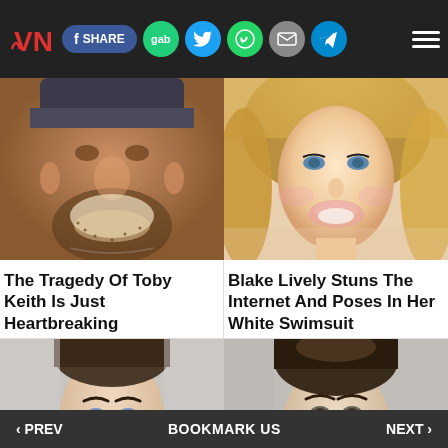VN | f SHARE | gab | Twitter | WhatsApp | Email | Telegram | Menu
[Figure (photo): Close-up photo of Toby Keith smiling, wearing a beanie hat, with beard stubble]
[Figure (photo): Close-up photo of Blake Lively smiling with blonde hair and blue eyes]
The Tragedy Of Toby Keith Is Just Heartbreaking
Blake Lively Stuns The Internet And Poses In Her White Swimsuit
[Figure (photo): Partial photo of a woman with dark hair pulled back, blue eyes, light background]
[Figure (photo): Partial photo of a woman with dark brown upswept hair, light background]
‹ PREV   BOOKMARK US   NEXT ›